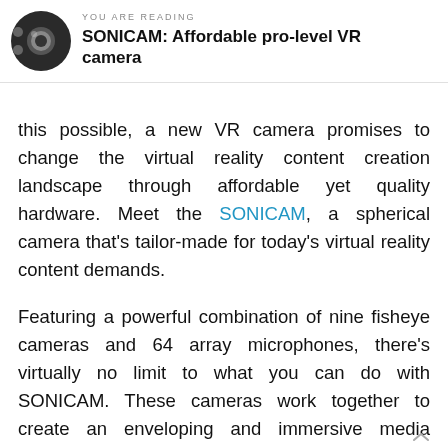YOU ARE READING
SONICAM: Affordable pro-level VR camera
this possible, a new VR camera promises to change the virtual reality content creation landscape through affordable yet quality hardware. Meet the SONICAM, a spherical camera that's tailor-made for today's virtual reality content demands.
Featuring a powerful combination of nine fisheye cameras and 64 array microphones, there's virtually no limit to what you can do with SONICAM. These cameras work together to create an enveloping and immersive media experience for viewing on most VR headsets. SONICAM ensures full-bodied 360-